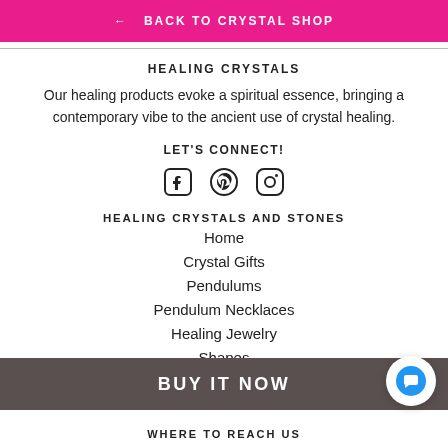← BACK TO CRYSTAL SHOP
HEALING CRYSTALS
Our healing products evoke a spiritual essence, bringing a contemporary vibe to the ancient use of crystal healing.
LET'S CONNECT!
[Figure (other): Social media icons: Facebook, Pinterest, Instagram]
HEALING CRYSTALS AND STONES
Home
Crystal Gifts
Pendulums
Pendulum Necklaces
Healing Jewelry
Shapes
Chakra Healing
BUY IT NOW
WHERE TO REACH US